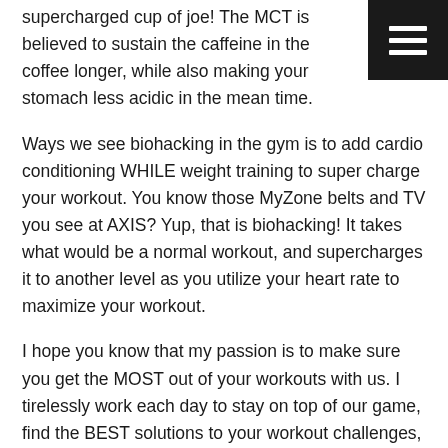supercharged cup of joe! The MCT is believed to sustain the caffeine in the coffee longer, while also making your stomach less acidic in the mean time.
[Figure (other): Dark hamburger menu icon button in top-right corner]
Ways we see biohacking in the gym is to add cardio conditioning WHILE weight training to super charge your workout. You know those MyZone belts and TV you see at AXIS? Yup, that is biohacking! It takes what would be a normal workout, and supercharges it to another level as you utilize your heart rate to maximize your workout.
I hope you know that my passion is to make sure you get the MOST out of your workouts with us. I tirelessly work each day to stay on top of our game, find the BEST solutions to your workout challenges, and utilize the most innovative products to biohack your fitness!